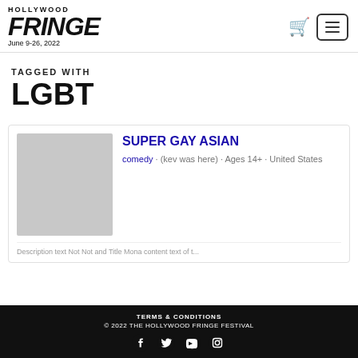HOLLYWOOD FRINGE June 9-26, 2022
TAGGED WITH
LGBT
[Figure (photo): Gray placeholder image for Super Gay Asian show]
SUPER GAY ASIAN
comedy · (kev was here) · Ages 14+ · United States
Partially visible snippet text at bottom of card
TERMS & CONDITIONS © 2022 THE HOLLYWOOD FRINGE FESTIVAL